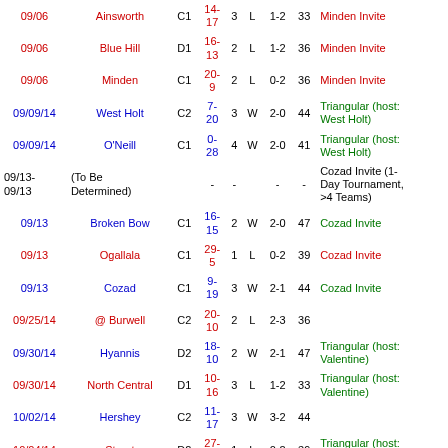| Date | Opponent | Class | Score | Sets | W/L | Record | Points | Tournament |
| --- | --- | --- | --- | --- | --- | --- | --- | --- |
| 09/06 | Ainsworth | C1 | 14-17 | 3 | L | 1-2 | 33 | Minden Invite |
| 09/06 | Blue Hill | D1 | 16-13 | 2 | L | 1-2 | 36 | Minden Invite |
| 09/06 | Minden | C1 | 20-9 | 2 | L | 0-2 | 36 | Minden Invite |
| 09/09/14 | West Holt | C2 | 7-20 | 3 | W | 2-0 | 44 | Triangular (host: West Holt) |
| 09/09/14 | O'Neill | C1 | 0-28 | 4 | W | 2-0 | 41 | Triangular (host: West Holt) |
| 09/13-09/13 | (To Be Determined) |  | - | - |  | - | - | Cozad Invite (1-Day Tournament, >4 Teams) |
| 09/13 | Broken Bow | C1 | 16-15 | 2 | W | 2-0 | 47 | Cozad Invite |
| 09/13 | Ogallala | C1 | 29-5 | 1 | L | 0-2 | 39 | Cozad Invite |
| 09/13 | Cozad | C1 | 9-19 | 3 | W | 2-1 | 44 | Cozad Invite |
| 09/25/14 | @ Burwell | C2 | 20-10 | 2 | L | 2-3 | 36 |  |
| 09/30/14 | Hyannis | D2 | 18-10 | 2 | W | 2-1 | 47 | Triangular (host: Valentine) |
| 09/30/14 | North Central | D1 | 10-16 | 3 | L | 1-2 | 33 | Triangular (host: Valentine) |
| 10/02/14 | Hershey | C2 | 11-17 | 3 | W | 3-2 | 44 |  |
| 10/04/14 | Stuart | D2 | 27-5 | 1 | L | 0-2 | 39 | Triangular (host: Stuart) |